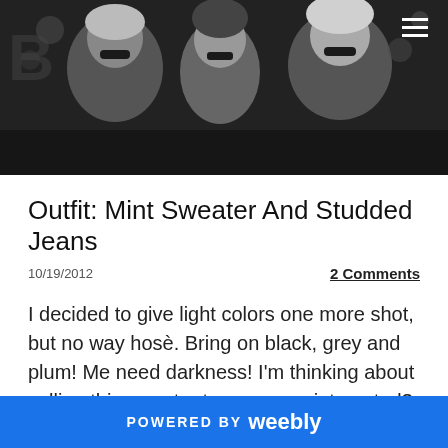[Figure (photo): Black and white photo of three people wearing sunglasses, likely women, with a dark/floral background. A hamburger menu icon (three white lines) is visible in the top right corner.]
Outfit: Mint Sweater And Studded Jeans
10/19/2012
2 Comments
I decided to give light colors one more shot, but no way hosè. Bring on black, grey and plum! Me need darkness! I'm thinking about selling this sweater too, are you interested? Stay tuned... A little sales blog might come back :p
POWERED BY weebly